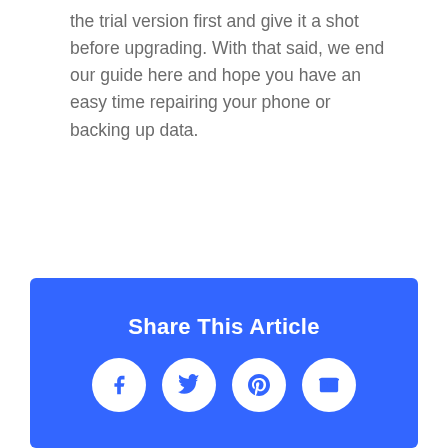the trial version first and give it a shot before upgrading. With that said, we end our guide here and hope you have an easy time repairing your phone or backing up data.
[Figure (infographic): Blue banner with 'Share This Article' heading and four social media icon circles: Facebook, Twitter, Pinterest, Email]